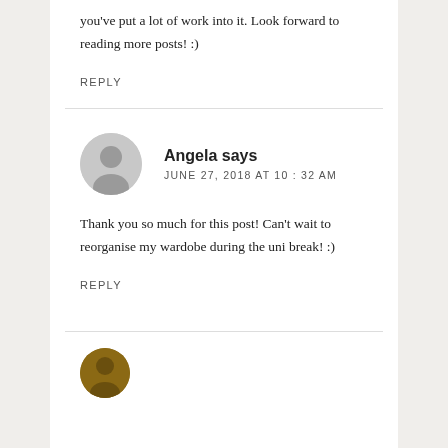you've put a lot of work into it. Look forward to reading more posts! :)
REPLY
Angela says
JUNE 27, 2018 AT 10:32 AM
Thank you so much for this post! Can't wait to reorganise my wardobe during the uni break! :)
REPLY
[Figure (illustration): Partial avatar icon at the bottom of the page]